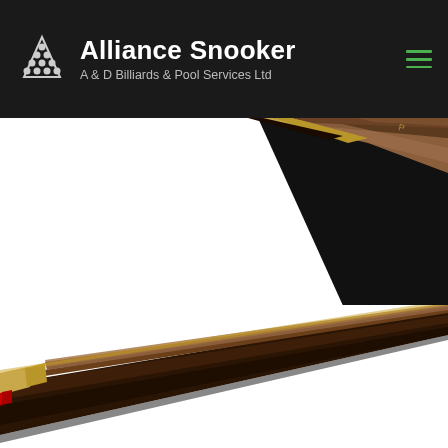Alliance Snooker — A & D Billiards & Pool Services Ltd
[Figure (photo): Close-up of a wooden snooker cue with gold/brass fittings, angled diagonally from right side, top portion visible]
Peradon Walter Lindrum Champion
[Figure (photo): Close-up of a snooker cue shaft showing wood grain, gold ring, and red marker detail, angled diagonally from lower-left]